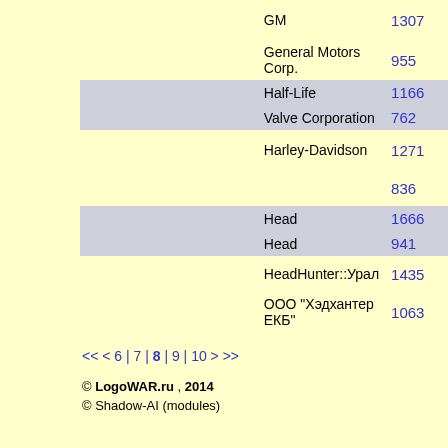Владел
Сайт:
|  |  | Name | Count |
| --- | --- | --- | --- |
|  |  | GM | 1307 |
|  |  | General Motors Corp. | 955 |
| [img] | [img] | Half-Life | 1166 |
|  |  | Valve Corporation | 762 |
|  |  | Harley-Davidson | 1271 |
|  |  |  | 836 |
| [img] | [img] | Head | 1666 |
|  |  | Head | 941 |
|  |  | HeadHunter::Урал | 1435 |
|  |  | ООО "Хэдхантер ЕКБ" | 1063 |
<< < 6 | 7 | 8 | 9 | 10 > >>
© LogoWAR.ru , 2014
© Shadow-AI (modules)